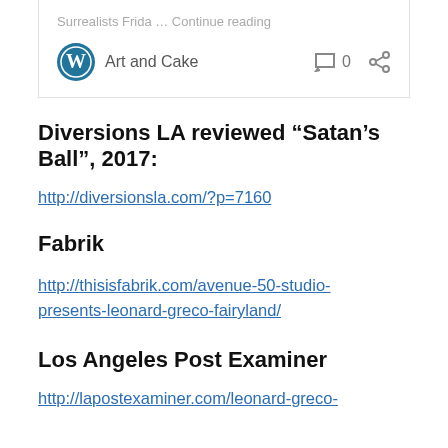[Figure (screenshot): WordPress card widget showing 'Art and Cake' site with comment icon showing 0 comments and a share icon]
Diversions LA reviewed “Satan’s Ball”, 2017:
http://diversionsla.com/?p=7160
Fabrik
http://thisisfabrik.com/avenue-50-studio-presents-leonard-greco-fairyland/
Los Angeles Post Examiner
http://lapostexaminer.com/leonard-greco-